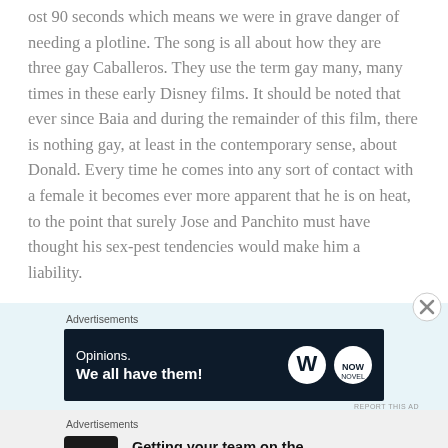ost 90 seconds which means we were in grave danger of needing a plotline. The song is all about how they are three gay Caballeros. They use the term gay many, many times in these early Disney films. It should be noted that ever since Baia and during the remainder of this film, there is nothing gay, at least in the contemporary sense, about Donald. Every time he comes into any sort of contact with a female it becomes ever more apparent that he is on heat, to the point that surely Jose and Panchito must have thought his sex-pest tendencies would make him a liability.
Advertisements
[Figure (infographic): Advertisement banner: dark navy background with text 'Opinions. We all have them!' and WordPress and Now logos on the right.]
REPORT THIS AD
Advertisements
[Figure (infographic): Advertisement: P2 logo on the left, bold text 'Getting your team on the same page is easy. And free.']